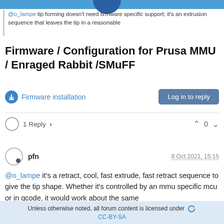@o_lampe tip forming doesn't need firmware specific support; it's an extrusion sequence that leaves the tip in a reasonable
Firmware / Configuration for Prusa MMU / Enraged Rabbit /SMuFF
Firmware installation
Log in to reply
1 Reply >
0
pfn
8 Oct 2021, 15:15
@o_lampe it's a retract, cool, fast extrude, fast retract sequence to give the tip shape. Whether it's controlled by an mmu specific mcu or in gcode, it would work about the same
0
Unless otherwise noted, all forum content is licensed under CC-BY-SA